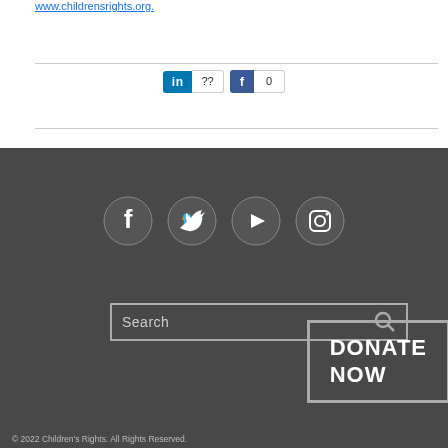www.childrensrights.org.
[Figure (infographic): LinkedIn share button with ?? count and Facebook share button with 0 count]
[Figure (infographic): Footer with Facebook, Twitter, YouTube, Instagram social icons, a search bar, and a DONATE NOW button]
© 2022 Children's Rights. All Rights Reserved.